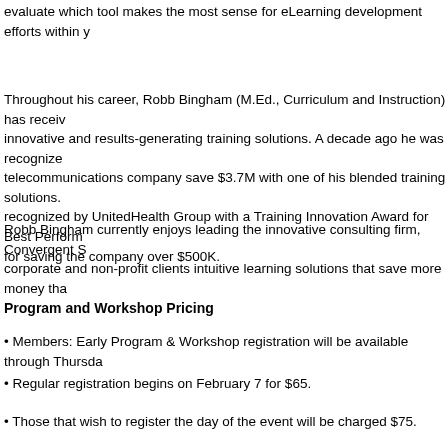evaluate which tool makes the most sense for eLearning development efforts within y
Throughout his career, Robb Bingham (M.Ed., Curriculum and Instruction) has received innovative and results-generating training solutions. A decade ago he was recognized telecommunications company save $3.7M with one of his blended training solutions. recognized by UnitedHealth Group with a Training Innovation Award for Best Perform for saving the company over $500K.
Robb Bingham currently enjoys leading the innovative consulting firm, Convergent S corporate and non-profit clients intuitive learning solutions that save more money tha
Program and Workshop Pricing
• Members: Early Program & Workshop registration will be available through Thursda
• Regular registration begins on February 7 for $65.
• Those that wish to register the day of the event will be charged $75.